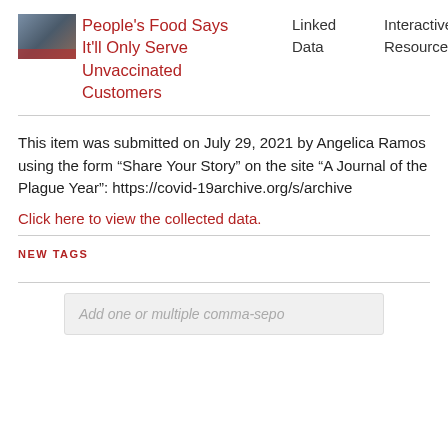People's Food Says It'll Only Serve Unvaccinated Customers
Linked Data
Interactive Resource
This item was submitted on July 29, 2021 by Angelica Ramos using the form “Share Your Story” on the site “A Journal of the Plague Year”: https://covid-19archive.org/s/archive
Click here to view the collected data.
NEW TAGS
Add one or multiple comma-sepo